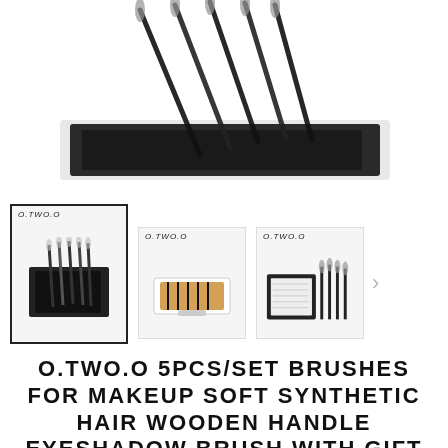[Figure (photo): Main product photo showing black makeup brushes displayed diagonally against white background, with a brush set in a black case at the bottom.]
[Figure (photo): Thumbnail 1 (selected/highlighted with border): O.TWO.O branded brush set in black case with brushes fanned out.]
[Figure (photo): Thumbnail 2: O.TWO.O branded brush set displayed in a white box, brushes laid flat.]
[Figure (photo): Thumbnail 3: O.TWO.O branded brushes standing upright next to a black box with white filling material.]
O.TWO.O 5PCS/SET BRUSHES FOR MAKEUP SOFT SYNTHETIC HAIR WOODEN HANDLE EYESHADOW BRUSH WITH GIFT BOX COSMETICS KIT